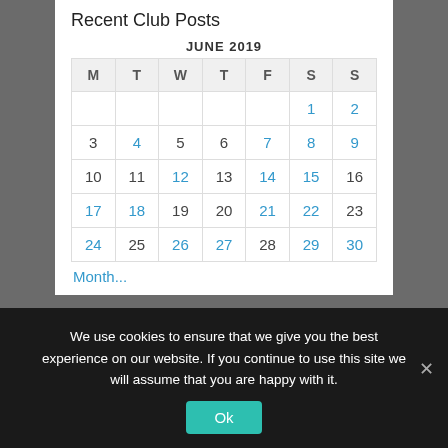Recent Club Posts
| M | T | W | T | F | S | S |
| --- | --- | --- | --- | --- | --- | --- |
|  |  |  |  |  | 1 | 2 |
| 3 | 4 | 5 | 6 | 7 | 8 | 9 |
| 10 | 11 | 12 | 13 | 14 | 15 | 16 |
| 17 | 18 | 19 | 20 | 21 | 22 | 23 |
| 24 | 25 | 26 | 27 | 28 | 29 | 30 |
We use cookies to ensure that we give you the best experience on our website. If you continue to use this site we will assume that you are happy with it.